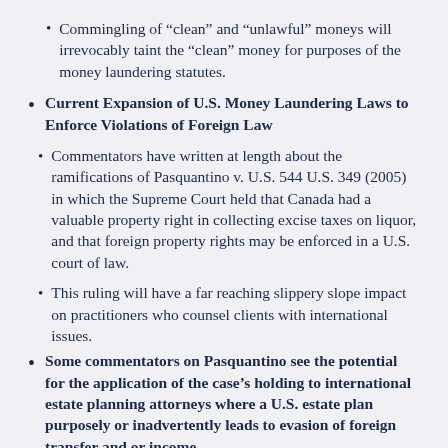Commingling of “clean” and “unlawful” moneys will irrevocably taint the “clean” money for purposes of the money laundering statutes.
Current Expansion of U.S. Money Laundering Laws to Enforce Violations of Foreign Law
Commentators have written at length about the ramifications of Pasquantino v. U.S. 544 U.S. 349 (2005) in which the Supreme Court held that Canada had a valuable property right in collecting excise taxes on liquor, and that foreign property rights may be enforced in a U.S. court of law.
This ruling will have a far reaching slippery slope impact on practitioners who counsel clients with international issues.
Some commentators on Pasquantino see the potential for the application of the case’s holding to international estate planning attorneys where a U.S. estate plan purposely or inadvertently leads to evasion of foreign transfer and or income